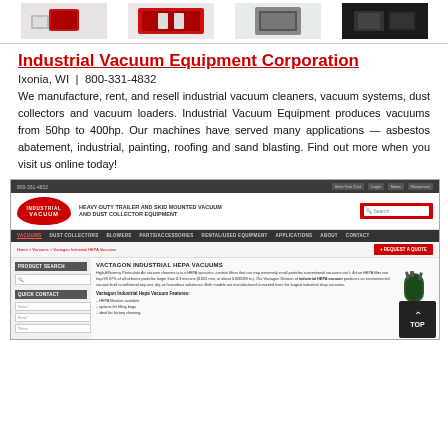[Figure (screenshot): Four small thumbnail images of industrial vacuum equipment shown in a row at the top]
Industrial Vacuum Equipment Corporation
Ixonia, WI  |  800-331-4832
We manufacture, rent, and resell industrial vacuum cleaners, vacuum systems, dust collectors and vacuum loaders. Industrial Vacuum Equipment produces vacuums from 50hp to 400hp. Our machines have served many applications — asbestos abatement, industrial, painting, roofing and sand blasting. Find out more when you visit us online today!
[Figure (screenshot): Screenshot of the Industrial Vacuum Equipment Corporation website showing navigation, product search sidebar, and Vactagon Industrial HEPA Vacuums product page]